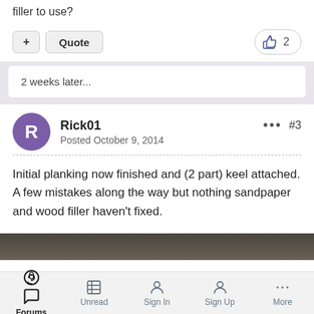filler to use?
+ Quote  2 [likes]
2 weeks later...
Rick01
Posted October 9, 2014
... #3
Initial planking now finished and (2 part) keel attached. A few mistakes along the way but nothing sandpaper and wood filler haven't fixed.
Forums  Unread  Sign In  Sign Up  More